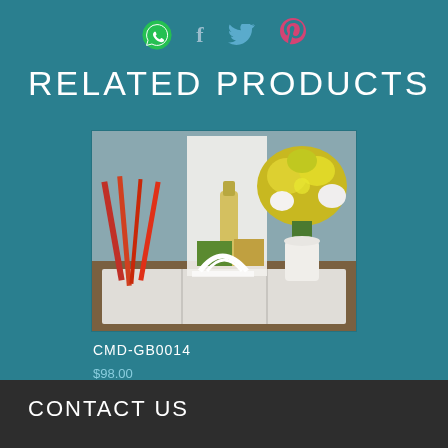[Figure (other): Social media share icons: WhatsApp (green), Facebook (f, muted blue), Twitter (bird, blue), Pinterest (p, pink/red)]
RELATED PRODUCTS
[Figure (photo): A gift basket (CMD-GB0014) on a white wooden crate, containing flowers, bottles, snacks, and colorful items. Yellow sunflowers in white vase on right. Red/colorful items on left. White divider board in center.]
CMD-GB0014
$98.00
CONTACT US